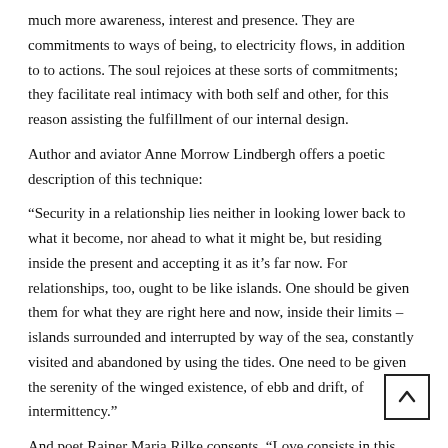much more awareness, interest and presence. They are commitments to ways of being, to electricity flows, in addition to to actions. The soul rejoices at these sorts of commitments; they facilitate real intimacy with both self and other, for this reason assisting the fulfillment of our internal design.
Author and aviator Anne Morrow Lindbergh offers a poetic description of this technique:
“Security in a relationship lies neither in looking lower back to what it become, nor ahead to what it might be, but residing inside the present and accepting it as it’s far now. For relationships, too, ought to be like islands. One should be given them for what they are right here and now, inside their limits – islands surrounded and interrupted by way of the sea, constantly visited and abandoned by using the tides. One need to be given the serenity of the winged existence, of ebb and drift, of intermittency.”
And poet Rainer Maria Rilke consents, “Love consists in this… Two solitudes that border and shield and salute each other.”